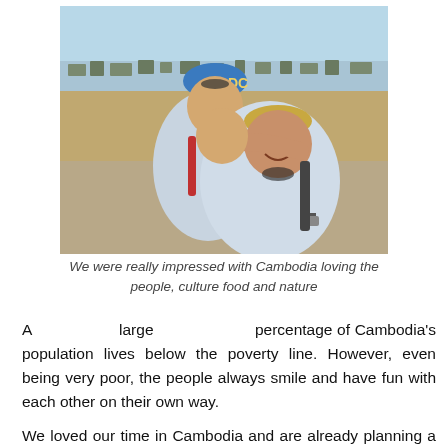[Figure (photo): Two people posing together outdoors near a large body of muddy water with floating structures in the background. One person is wearing a blue DC cap and resting their head on the other person's shoulder. The other person is a heavier-set man wearing a tan cap and a watch, smiling at the camera.]
We were really impressed with Cambodia loving the people, culture food and nature
A large percentage of Cambodia's population lives below the poverty line. However, even being very poor, the people always smile and have fun with each other on their own way.
We loved our time in Cambodia and are already planning a return trip.